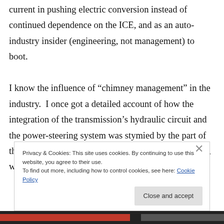current in pushing electric conversion instead of continued dependence on the ICE, and as an auto-industry insider (engineering, not management) to boot.

I know the influence of “chimney management” in the industry.  I once got a detailed account of how the integration of the transmission’s hydraulic circuit and the power-steering system was stymied by the part of the company responsible for the power-steering pump, which
Privacy & Cookies: This site uses cookies. By continuing to use this website, you agree to their use.
To find out more, including how to control cookies, see here: Cookie Policy
Close and accept